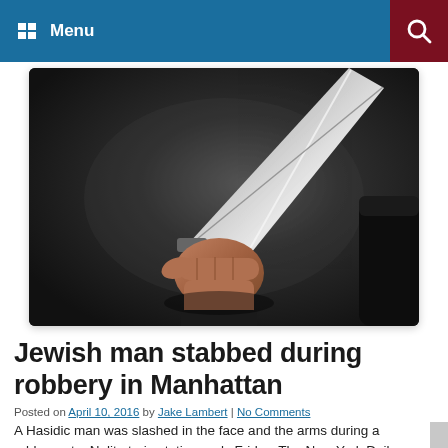Menu
[Figure (photo): A hand gripping a large knife, dark dramatic background]
Jewish man stabbed during robbery in Manhattan
Posted on April 10, 2016 by Jake Lambert | No Comments
A Hasidic man was slashed in the face and the arms during a robbery at a Nolita train station early Friday, The New York Daily News reported. The victim, who